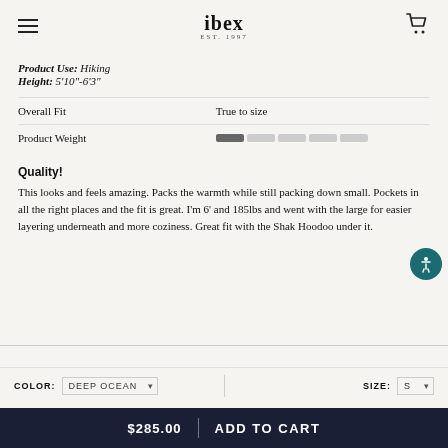ibex EST. 1997
Product Use: Hiking
Height: 5'10"-6'3"
|  |  |
| --- | --- |
| Overall Fit | True to size |
| Product Weight | [progress bar: 1 of 5 filled] |
Quality!
This looks and feels amazing. Packs the warmth while still packing down small. Pockets in all the right places and the fit is great. I'm 6' and 185lbs and went with the large for easier layering underneath and more coziness. Great fit with the Shak Hoodoo under it.
COLOR: DEEP OCEAN  SIZE: S
$285.00  ADD TO CART